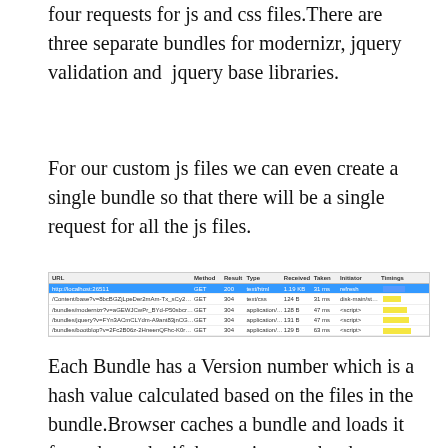four requests for js and css files.There are three separate bundles for modernizr, jquery validation and  jquery base libraries.
For our custom js files we can even create a single bundle so that there will be a single request for all the js files.
[Figure (screenshot): Browser network tab showing HTTP requests: one highlighted row for http://localhost:26511 (GET, 200, text/html, 1.19KB, 31ms, refresh) and four rows for bundles/content js and css files with 304 results, timings shown as yellow bars.]
Each Bundle has a Version number which is a hash value calculated based on the files in the bundle.Browser caches a bundle and loads it from the cache if the version number has not